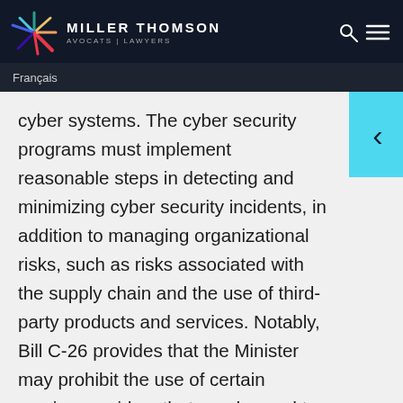MILLER THOMSON AVOCATS | LAWYERS
Français
cyber systems. The cyber security programs must implement reasonable steps in detecting and minimizing cyber security incidents, in addition to managing organizational risks, such as risks associated with the supply chain and the use of third-party products and services. Notably, Bill C-26 provides that the Minister may prohibit the use of certain service providers that are deemed to pose a high risk to cyber security.
Bill C-26 also prioritizes the importance of breach reporting requirements. A cyber security incident in